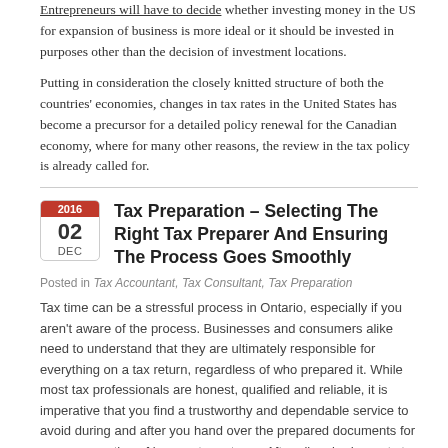Entrepreneurs will have to decide whether investing money in the US for expansion of business is more ideal or it should be invested in purposes other than the decision of investment locations.
Putting in consideration the closely knitted structure of both the countries' economies, changes in tax rates in the United States has become a precursor for a detailed policy renewal for the Canadian economy, where for many other reasons, the review in the tax policy is already called for.
Tax Preparation – Selecting The Right Tax Preparer And Ensuring The Process Goes Smoothly
Posted in Tax Accountant, Tax Consultant, Tax Preparation
Tax time can be a stressful process in Ontario, especially if you aren't aware of the process. Businesses and consumers alike need to understand that they are ultimately responsible for everything on a tax return, regardless of who prepared it. While most tax professionals are honest, qualified and reliable, it is imperative that you find a trustworthy and dependable service to avoid during and after you hand over the prepared documents for your preparation of income tax returns. After all, nobody wants to deal with income tax return problems just because the preparer made a mistake. So, without further ado, look at these tips to find a good service for Tax Preparation in Mississauga, Brampton and Oakville and ensure the process goes smoothly:
• Check Qualifications of the Preparer – When it comes to tax preparation, you need to ensure you are hiring...